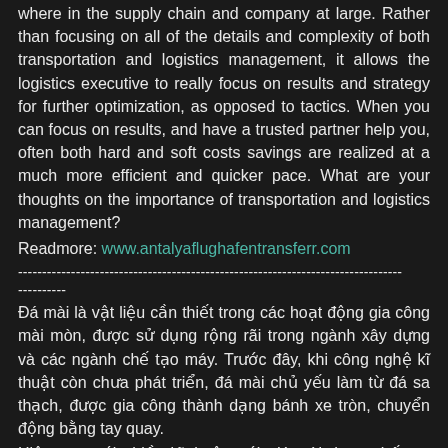where in the supply chain and company at large. Rather than focusing on all of the details and complexity of both transportation and logistics management, it allows the logistics executive to really focus on results and strategy for further optimization, as opposed to tactics. When you can focus on results, and have a trusted partner help you, often both hard and soft costs savings are realized at a much more efficient and quicker pace. What are your thoughts on the importance of transportation and logistics management?
Readmore: www.antalyaflughafentransferr.com
--------------------------------------------------------------------------------------------
Đá mài là vật liệu cần thiết trong các hoạt động gia công mài mòn, được sử dụng rộng rãi trong ngành xây dựng và các ngành chế tạo máy. Trước đây, khi công nghệ kĩ thuật còn chưa phát triển, đá mài chủ yếu làm từ đá sa thạch, được gia công thành dạng bánh xe tròn, chuyển động bằng tay quay.
Hiện nay, với nhiều kĩ thuật mới, đá mài được chế tạo thành dạng bánh mài – nhỏ hơn, tiện dụng hơn và hiệu suất cao hơn. Các bánh mài được gắn vào máy quay nên tăng hiệu quả gia công hơn. Vật liệu cấu thành nên đá